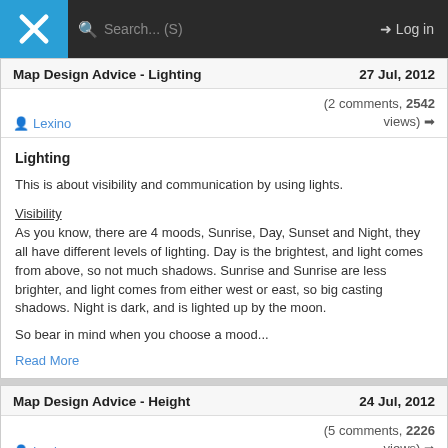[Figure (screenshot): Top navigation bar with logo (blue X icon), search bar with placeholder 'Search... (S)', and Log in button on dark background]
Map Design Advice - Lighting | 27 Jul, 2012
Lexino | (2 comments, 2542 views)
Lighting
This is about visibility and communication by using lights.
Visibility
As you know, there are 4 moods, Sunrise, Day, Sunset and Night, they all have different levels of lighting. Day is the brightest, and light comes from above, so not much shadows. Sunrise and Sunrise are less brighter, and light comes from either west or east, so big casting shadows. Night is dark, and is lighted up by the moon.
So bear in mind when you choose a mood...
Read More
Map Design Advice - Height | 24 Jul, 2012
Lexino | (5 comments, 2226 views)